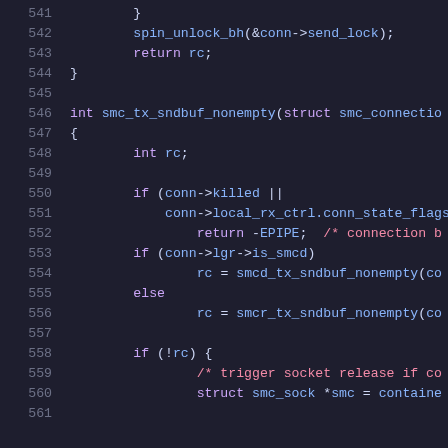Source code listing, lines 541-561, C kernel code for smc_tx_sndbuf_nonempty function